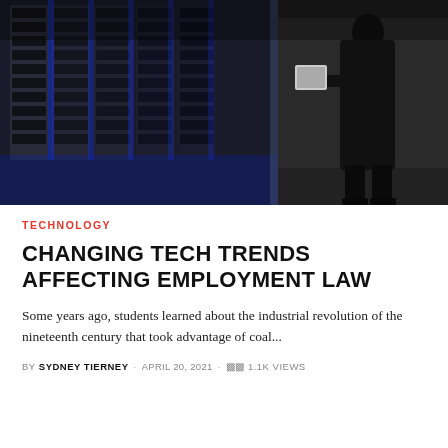[Figure (photo): Dark hallway/corridor scene with server racks or filing cabinets lit with blue lighting on the left, and a person in dark clothing walking on the right side carrying a laptop or tablet.]
TECHNOLOGY
CHANGING TECH TRENDS AFFECTING EMPLOYMENT LAW
Some years ago, students learned about the industrial revolution of the nineteenth century that took advantage of coal...
BY SYDNEY TIERNEY · APRIL 20, 2021 · 1.1K VIEWS